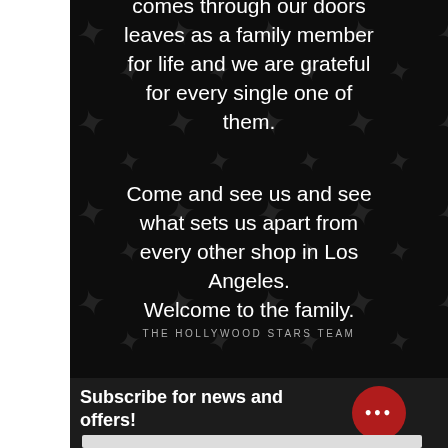comes through our doors leaves as a family member for life and we are grateful for every single one of them.

Come and see us and see what sets us apart from every other shop in Los Angeles.
Welcome to the family.
THE HOLLYWOOD STARS TEAM
Subscribe for news and offers!